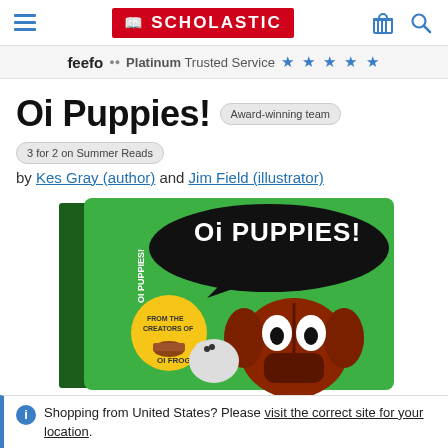Scholastic navigation bar with hamburger menu, Scholastic logo, cart and search icons
feefo Platinum Trusted Service ★★★★★
Oi Puppies!
Award-winning team   3 for 2 on Summer Reads
by Kes Gray (author) and Jim Field (illustrator)
[Figure (photo): Book cover of 'Oi Puppies!' showing a green hardcover board book with a cartoon dog and puppy, speech bubble saying OI PUPPIES!, and a yellow badge reading FROM THE CREATORS OF OI FROG!]
Shopping from United States? Please visit the correct site for your location.